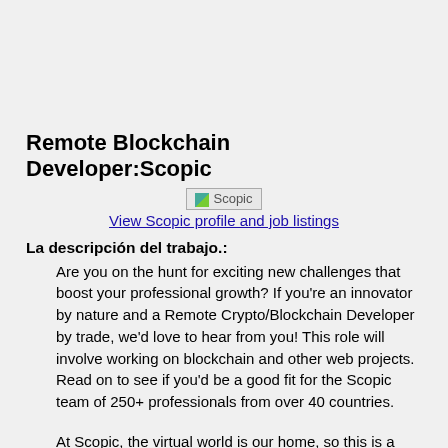Remote Blockchain Developer:Scopic
[Figure (logo): Scopic company logo image (broken/placeholder image labeled 'Scopic')]
View Scopic profile and job listings
La descripción del trabajo.:
Are you on the hunt for exciting new challenges that boost your professional growth? If you're an innovator by nature and a Remote Crypto/Blockchain Developer by trade, we'd love to hear from you! This role will involve working on blockchain and other web projects. Read on to see if you'd be a good fit for the Scopic team of 250+ professionals from over 40 countries.
At Scopic, the virtual world is our home, so this is a full-time remote position. Only apply if you're prepared for a zero-hour commute and the thought of collaborating with colleagues from around the globe excites you!